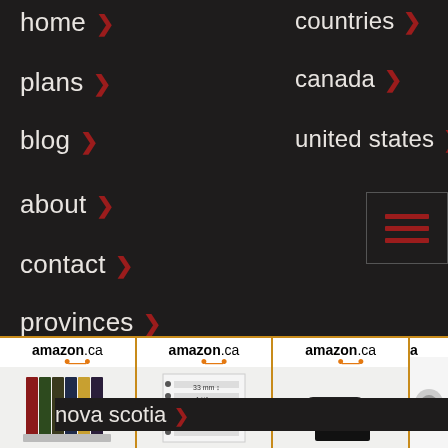home >
countries >
plans >
canada >
blog >
united states >
about >
contact >
provinces >
british columbia >
newfoundland >
nova scotia >
prince edward island >
new brunswick >
[Figure (screenshot): Navigation menu hamburger icon (three red horizontal lines) in a bordered box]
[Figure (screenshot): Four Amazon.ca advertisement boxes at the bottom showing stamp collecting products]